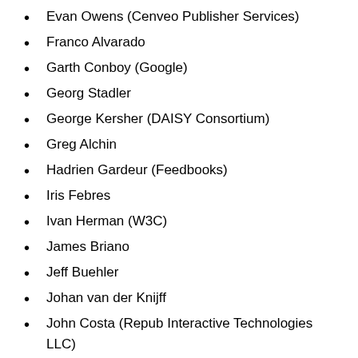Evan Owens (Cenveo Publisher Services)
Franco Alvarado
Garth Conboy (Google)
Georg Stadler
George Kersher (DAISY Consortium)
Greg Alchin
Hadrien Gardeur (Feedbooks)
Iris Febres
Ivan Herman (W3C)
James Briano
Jeff Buehler
Johan van der Knijff
John Costa (Repub Interactive Technologies LLC)
Julian Caldorazi (DigitalBo)